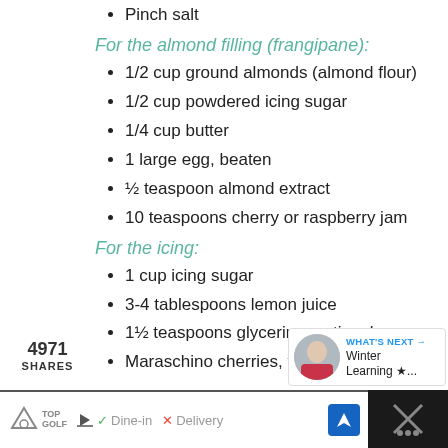Pinch salt
For the almond filling (frangipane):
1/2 cup ground almonds (almond flour)
1/2 cup powdered icing sugar
1/4 cup butter
1 large egg, beaten
½ teaspoon almond extract
10 teaspoons cherry or raspberry jam
For the icing:
1 cup icing sugar
3-4 tablespoons lemon juice
1½ teaspoons glycerine, optional
Maraschino cherries, to decorate
4971 SHARES
[Figure (infographic): Social share buttons: Facebook (blue), Twitter (light blue), Pinterest (red)]
[Figure (infographic): Heart/like button (teal circle) showing 5K, and share icon button]
[Figure (infographic): What's Next widget with thumbnail and text 'Winter Learning *...']
[Figure (infographic): Advertisement bar: TopGolf logo, Dine-in checkmark, Delivery X, navigation arrow icon]